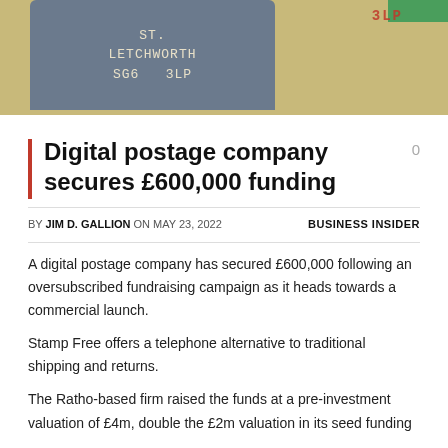[Figure (photo): A smartphone showing a handwritten address label reading 'ST. LETCHWORTH SG6 3LP' on a purple/grey screen, with a green bar in the top right corner and a yellow/tan background. A red postal stamp mark '3LP' is visible in the top right corner.]
Digital postage company secures £600,000 funding
BY JIM D. GALLION ON MAY 23, 2022   BUSINESS INSIDER
A digital postage company has secured £600,000 following an oversubscribed fundraising campaign as it heads towards a commercial launch.
Stamp Free offers a telephone alternative to traditional shipping and returns.
The Ratho-based firm raised the funds at a pre-investment valuation of £4m, double the £2m valuation in its seed funding